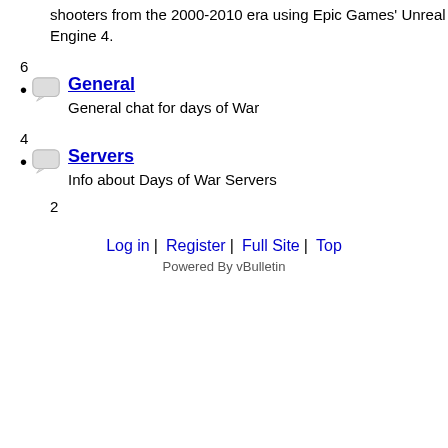shooters from the 2000-2010 era using Epic Games' Unreal Engine 4.
6 [bubble icon] General — General chat for days of War
4 [bubble icon] Servers — Info about Days of War Servers
2
Log in | Register | Full Site | Top
Powered By vBulletin